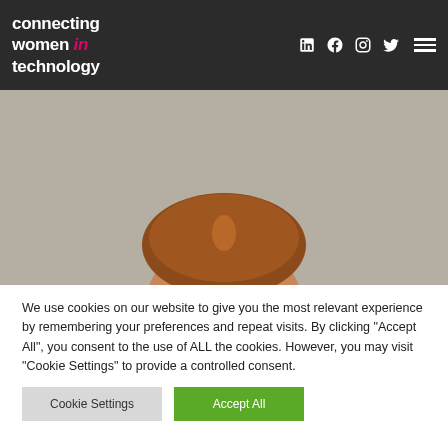connecting women in technology
[Figure (photo): Partial view of a person with auburn/red hair against a grey background, showing the top of the head. Website header image for 'Connecting Women in Technology'.]
We use cookies on our website to give you the most relevant experience by remembering your preferences and repeat visits. By clicking "Accept All", you consent to the use of ALL the cookies. However, you may visit "Cookie Settings" to provide a controlled consent.
Cookie Settings | Accept All